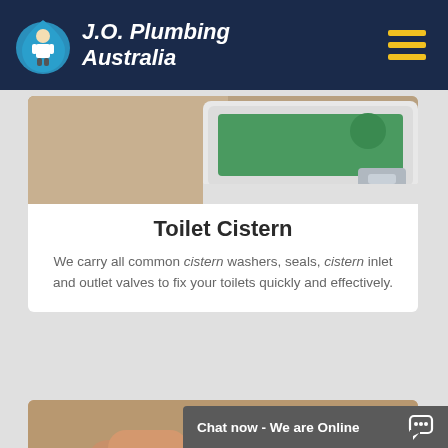[Figure (logo): J.O. Plumbing Australia logo with plumber icon in teal/blue droplet shape and italic white text on dark navy header]
[Figure (photo): Close-up photo of toilet cistern interior showing green floatball and chrome flush hardware]
Toilet Cistern
We carry all common cistern washers, seals, cistern inlet and outlet valves to fix your toilets quickly and effectively.
[Figure (photo): Hands working on yellow flexible hose and pipe fittings plumbing connection]
Chat now - We are Online